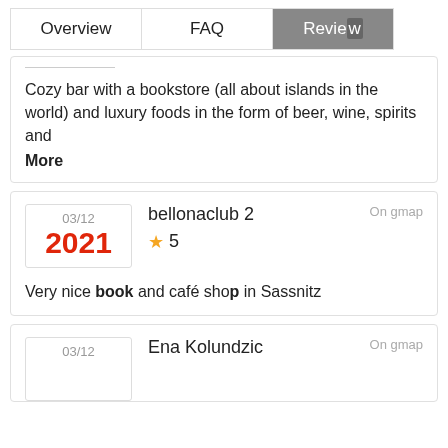Overview | FAQ | Review
Cozy bar with a bookstore (all about islands in the world) and luxury foods in the form of beer, wine, spirits and
More
03/12 2021 | bellonaclub 2 | On gmap | ★ 5
Very nice book and café shop in Sassnitz
03/12 2021 | Ena Kolundzic | On gmap